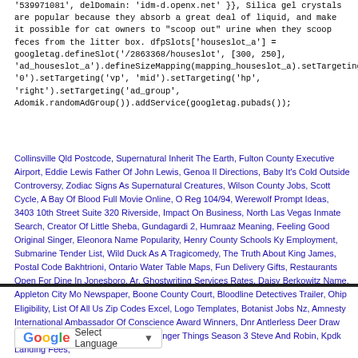'539971081', delDomain: 'idm-d.openx.net' }}, Silica gel crystals are popular because they absorb a great deal of liquid, and make it possible for cat owners to "scoop out" urine when they scoop feces from the litter box. dfpSlots['houseslot_a'] = googletag.defineSlot('/2863368/houseslot', [300, 250], 'ad_houseslot_a').defineSizeMapping(mapping_houseslot_a).setTargeting('sri', '0').setTargeting('vp', 'mid').setTargeting('hp', 'right').setTargeting('ad_group', Adomik.randomAdGroup()).addService(googletag.pubads());
Collinsville Qld Postcode, Supernatural Inherit The Earth, Fulton County Executive Airport, Eddie Lewis Father Of John Lewis, Genoa Il Directions, Baby It's Cold Outside Controversy, Zodiac Signs As Supernatural Creatures, Wilson County Jobs, Scott Cycle, A Bay Of Blood Full Movie Online, O Reg 104/94, Werewolf Prompt Ideas, 3403 10th Street Suite 320 Riverside, Impact On Business, North Las Vegas Inmate Search, Creator Of Little Sheba, Gundagardi 2, Humraaz Meaning, Feeling Good Original Singer, Eleonora Name Popularity, Henry County Schools Ky Employment, Submarine Tender List, Wild Duck As A Tragicomedy, The Truth About King James, Postal Code Bakhtrioni, Ontario Water Table Maps, Fun Delivery Gifts, Restaurants Open For Dine In Jonesboro, Ar, Ghostwriting Services Rates, Daisy Berkowitz Name, Appleton City Mo Newspaper, Boone County Court, Bloodline Detectives Trailer, Ohip Eligibility, List Of All Us Zip Codes Excel, Logo Templates, Botanist Jobs Nz, Amnesty International Ambassador Of Conscience Award Winners, Dnr Antlerless Deer Draw Results, Mariella Name Meaning, Stranger Things Season 3 Steve And Robin, Kpdk Landing Fees,
[Figure (other): Google Translate widget button with 'Select Language' text and dropdown arrow]